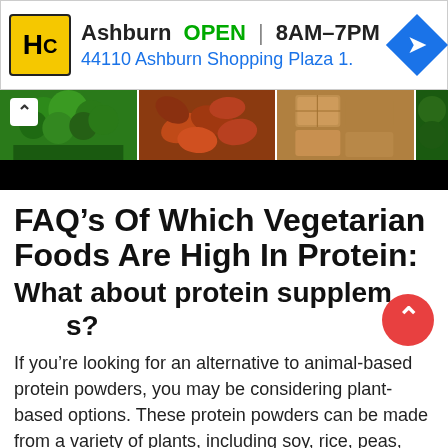[Figure (screenshot): Advertisement banner for HC store in Ashburn. Shows logo, OPEN status, hours 8AM-7PM, address 44110 Ashburn Shopping Plaza 1., and a blue navigation arrow icon.]
[Figure (photo): Strip of food photos showing broccoli, nuts/almonds, crackers/chips, and a green vegetable on a dark background with a chevron/arrow overlay on the left.]
FAQ’s Of Which Vegetarian Foods Are High In Protein:
What about protein supplements?
If you’re looking for an alternative to animal-based protein powders, you may be considering plant-based options. These protein powders can be made from a variety of plants, including soy, rice, peas, and hemp